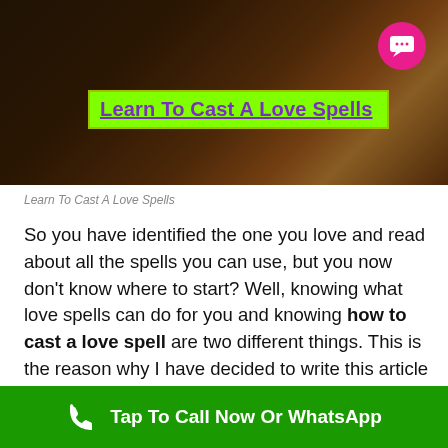[Figure (photo): Dark atmospheric photo background with warm orange/golden glow light, used as hero image header. Contains a green-highlighted title overlay and pink chat bubble icon.]
Learn To Cast A Love Spells
So you have identified the one you love and read about all the spells you can use, but you now don't know where to start? Well, knowing what love spells can do for you and knowing how to cast a love spell are two different things. This is the reason why I have decided to write this article so that we could look at the basics of casting love spells.
Tap To Call Now Or WhatsApp